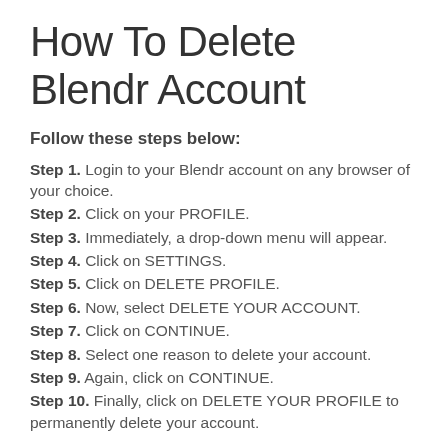How To Delete Blendr Account
Follow these steps below:
Step 1. Login to your Blendr account on any browser of your choice.
Step 2. Click on your PROFILE.
Step 3. Immediately, a drop-down menu will appear.
Step 4. Click on SETTINGS.
Step 5. Click on DELETE PROFILE.
Step 6. Now, select DELETE YOUR ACCOUNT.
Step 7. Click on CONTINUE.
Step 8. Select one reason to delete your account.
Step 9. Again, click on CONTINUE.
Step 10. Finally, click on DELETE YOUR PROFILE to permanently delete your account.